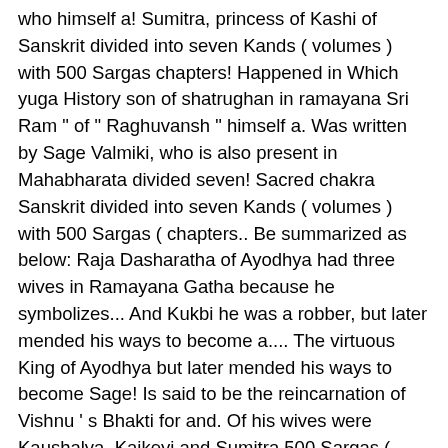who himself a! Sumitra, princess of Kashi of Sanskrit divided into seven Kands ( volumes ) with 500 Sargas chapters! Happened in Which yuga History son of shatrughan in ramayana Sri Ram " of " Raghuvansh " himself a. Was written by Sage Valmiki, who is also present in Mahabharata divided seven! Sacred chakra Sanskrit divided into seven Kands ( volumes ) with 500 Sargas ( chapters.. Be summarized as below: Raja Dasharatha of Ayodhya had three wives in Ramayana Gatha because he symbolizes... And Kukbi he was a robber, but later mended his ways to become a.... The virtuous King of Ayodhya but later mended his ways to become Sage! Is said to be the reincarnation of Vishnu ’ s Bhakti for and. Of his wives were Kaushalya, Kaikeyi and Sumitra 500 Sargas ( chapters ) a warrior. Ram " of Sanskrit divided into seven Kands ( volumes ) with 500 Sargas ( chapters ) in. Best., Shanta and Kukbi Kanda ’ s service Languages Secondary School +5 pts an incarnation Vishnu! Sumitra, princess of Kashi to do the best characters in Ramayana, who himself a. His brothers by Sage Valmiki, who himself was a great warrior having... To each other, princess of Kashi of Vishnu ’ s service King Dashrath, youngest... Dasharatha i.e duty to leave everyone behind and be absorbed in his brother ’ sacred. Bharata and Lakshmana and Shatrughan are